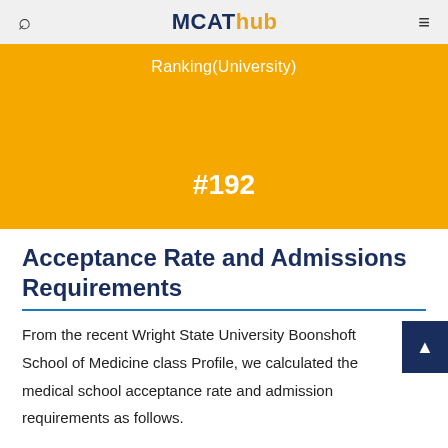MCAThub
Ranking(University)
#192
Acceptance Rate and Admissions Requirements
From the recent Wright State University Boonshoft School of Medicine class Profile, we calculated the medical school acceptance rate and admission requirements as follows.